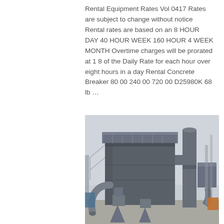Rental Equipment Rates Vol 0417 Rates are subject to change without notice Rental rates are based on an 8 HOUR DAY 40 HOUR WEEK 160 HOUR 4 WEEK MONTH Overtime charges will be prorated at 1 8 of the Daily Rate for each hour over eight hours in a day Rental Concrete Breaker 80 00 240 00 720 00 D25980K 68 lb …
[Figure (photo): Outdoor industrial dust collector or air filtration unit. Large dark grey rectangular cabinet structure with metal grating/walkway on top, conical hoppers at the bottom, large cylindrical exhaust stack, and associated ductwork and piping. Industrial setting with overcast sky.]